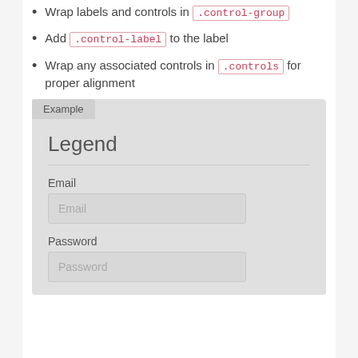Wrap labels and controls in .control-group
Add .control-label to the label
Wrap any associated controls in .controls for proper alignment
[Figure (screenshot): Example box showing a form with legend 'Legend', an Email label with Email input field, and a Password label with Password input field, all on a light gray background with an 'Example' tab label at top left.]